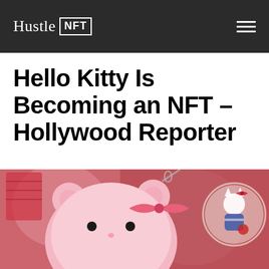Hustle NFT
Hello Kitty Is Becoming an NFT – Hollywood Reporter
[Figure (photo): Close-up photograph of a pink Hello Kitty face purse/keychain charm with a bow, hanging from a chain. In the blurred background are Hello Kitty merchandise and a Hello Kitty sticker/figure wearing a blue dress and holding an apple, displayed on a circular frame. The background has pink and red tones.]